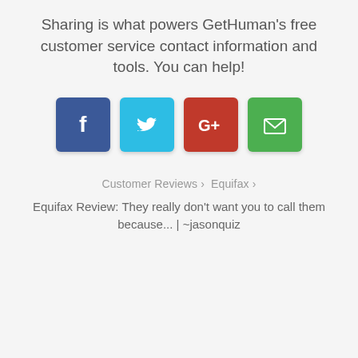Sharing is what powers GetHuman's free customer service contact information and tools. You can help!
[Figure (infographic): Four social sharing buttons: Facebook (blue), Twitter (light blue), Google+ (red), Email (green)]
Customer Reviews › Equifax ›
Equifax Review: They really don't want you to call them because... | ~jasonquiz